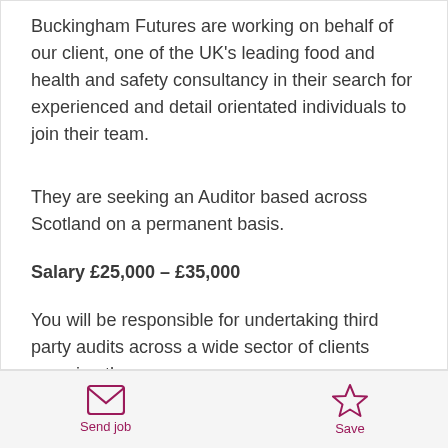Buckingham Futures are working on behalf of our client, one of the UK's leading food and health and safety consultancy in their search for experienced and detail orientated individuals to join their team.
They are seeking an Auditor based across Scotland on a permanent basis.
Salary £25,000 – £35,000
You will be responsible for undertaking third party audits across a wide sector of clients ensuring the
Send job | Save